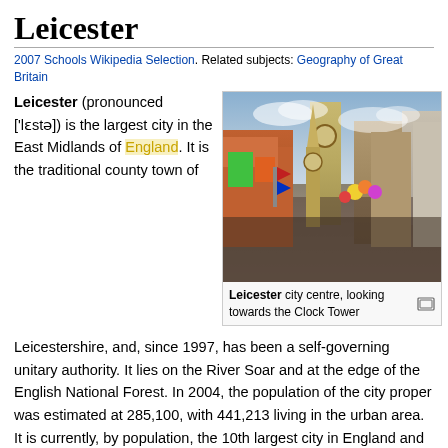Leicester
2007 Schools Wikipedia Selection. Related subjects: Geography of Great Britain
Leicester (pronounced ['lɛstə]) is the largest city in the East Midlands of England. It is the traditional county town of
[Figure (photo): Leicester city centre street scene looking towards the Clock Tower, with crowds of people and colourful buildings]
Leicester city centre, looking towards the Clock Tower
Leicestershire, and, since 1997, has been a self-governing unitary authority. It lies on the River Soar and at the edge of the English National Forest. In 2004, the population of the city proper was estimated at 285,100, with 441,213 living in the urban area. It is currently, by population, the 10th largest city in England and the 13th largest in the UK